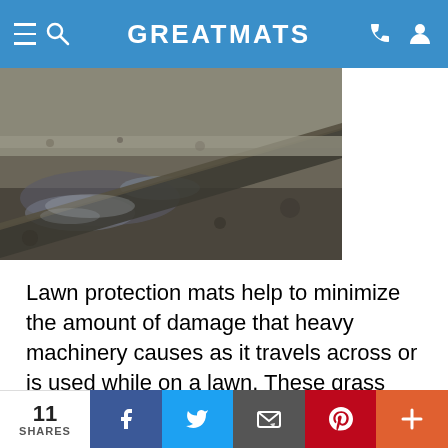GREATMATS
[Figure (photo): Outdoor ground scene showing muddy/wet ground with a mat or board being placed across dirt and gravel terrain]
Lawn protection mats help to minimize the amount of damage that heavy machinery causes as it travels across or is used while on a lawn. These grass protection mats are specifically manufactured for the task at hand, and they're far more effective and easier to use than plywood.
Heavy equipment mats create a temporary "road" of sorts for you to drive equipment over. Rather than
11 SHARES